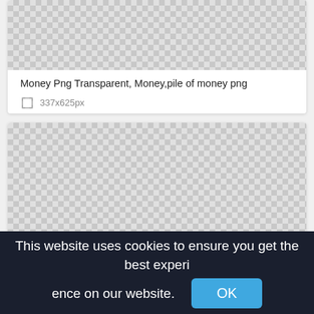[Figure (photo): Checkerboard transparent background pattern for first image card]
Money Png Transparent, Money,pile of money png
337x625px
[Figure (photo): Checkerboard transparent background pattern for second image card]
This website uses cookies to ensure you get the best experience on our website. OK